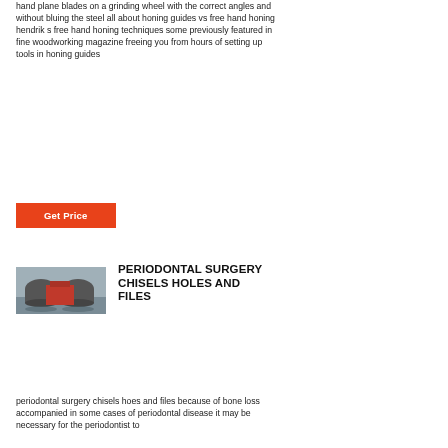hand plane blades on a grinding wheel with the correct angles and without bluing the steel all about honing guides vs free hand honing hendrik s free hand honing techniques some previously featured in fine woodworking magazine freeing you from hours of setting up tools in honing guides
Get Price
[Figure (photo): Outdoor photo showing large industrial tanks or silos with a red structure/building in the background, reflected in water]
PERIODONTAL SURGERY CHISELS HOLES AND FILES
periodontal surgery chisels hoes and files because of bone loss accompanied in some cases of periodontal disease it may be necessary for the periodontist to